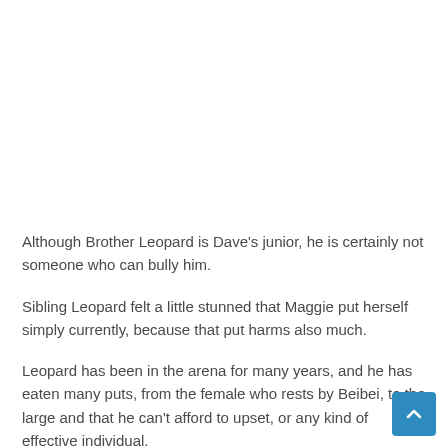Although Brother Leopard is Dave’s junior, he is certainly not someone who can bully him.
Sibling Leopard felt a little stunned that Maggie put herself simply currently, because that put harms also much.
Leopard has been in the arena for many years, and he has eaten many puts, from the female who rests by Beibei, to the large and that he can’t afford to upset, or any kind of effective individual.